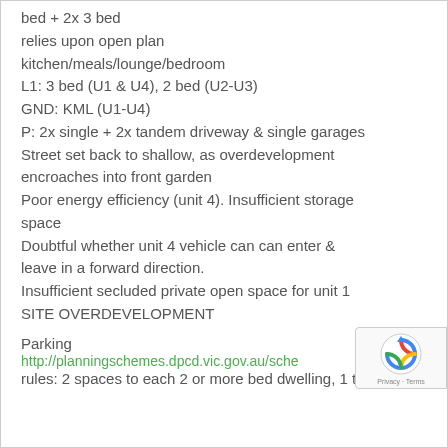bed + 2x 3 bed
relies upon open plan kitchen/meals/lounge/bedroom
L1: 3 bed (U1 & U4),  2 bed (U2-U3)
GND: KML (U1-U4)
P:  2x single + 2x tandem driveway & single garages
Street set back to shallow, as overdevelopment encroaches into front garden
Poor energy efficiency (unit 4). Insufficient storage space
Doubtful whether unit 4 vehicle can can enter & leave in a forward direction.
Insufficient secluded private open space for unit 1
SITE OVERDEVELOPMENT
Parking
http://planningschemes.dpcd.vic.gov.au/sche...
rules: 2 spaces to each 2 or more bed dwelling, 1 to